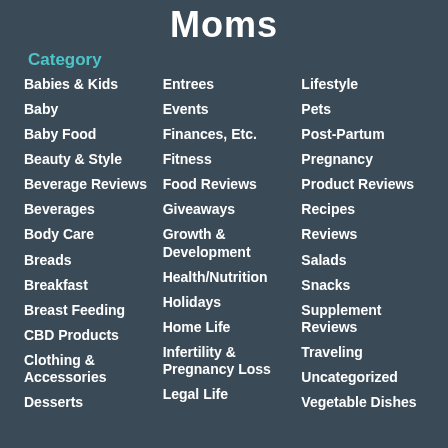Moms
Category
Babies & Kids
Baby
Baby Food
Beauty & Style
Beverage Reviews
Beverages
Body Care
Breads
Breakfast
Breast Feeding
CBD Products
Clothing & Accessories
Desserts
Entrees
Events
Finances, Etc.
Fitness
Food Reviews
Giveaways
Growth & Development
Health/Nutrition
Holidays
Home Life
Infertility & Pregnancy Loss
Legal Life
Lifestyle
Pets
Post-Partum
Pregnancy
Product Reviews
Recipes
Reviews
Salads
Snacks
Supplement Reviews
Traveling
Uncategorized
Vegetable Dishes